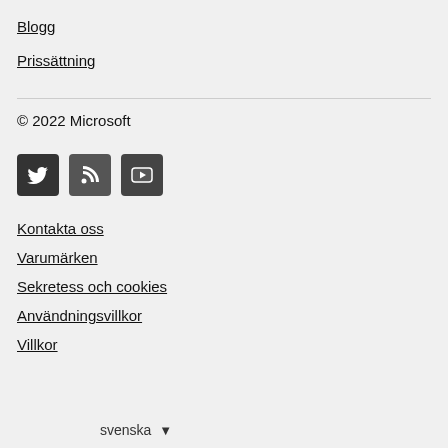Blogg
Prissättning
© 2022 Microsoft
[Figure (infographic): Three social media icon buttons: Twitter (bird icon), RSS (feed icon), YouTube (play button icon), all with dark/black backgrounds]
Kontakta oss
Varumärken
Sekretess och cookies
Användningsvillkor
Villkor
svenska ▼